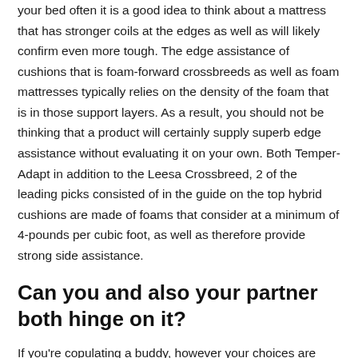your bed often it is a good idea to think about a mattress that has stronger coils at the edges as well as will likely confirm even more tough. The edge assistance of cushions that is foam-forward crossbreeds as well as foam mattresses typically relies on the density of the foam that is in those support layers. As a result, you should not be thinking that a product will certainly supply superb edge assistance without evaluating it on your own. Both Temper-Adapt in addition to the Leesa Crossbreed, 2 of the leading picks consisted of in the guide on the top hybrid cushions are made of foams that consider at a minimum of 4-pounds per cubic foot, as well as therefore provide strong side assistance.
Can you and also your partner both hinge on it?
If you're copulating a buddy, however your choices are different, for example, you such as firmness, yet your companion favors something more glamorous, you'll require to find an acceptable